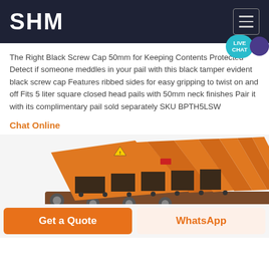SHM
The Right Black Screw Cap 50mm for Keeping Contents Protected Detect if someone meddles in your pail with this black tamper evident black screw cap Features ribbed sides for easy gripping to twist on and off Fits 5 liter square closed head pails with 50mm neck finishes Pair it with its complimentary pail sold separately SKU BPTH5LSW
Chat Online
[Figure (photo): Orange industrial machine with multiple compartments on a conveyor, photographed from a side angle]
Get a Quote
WhatsApp